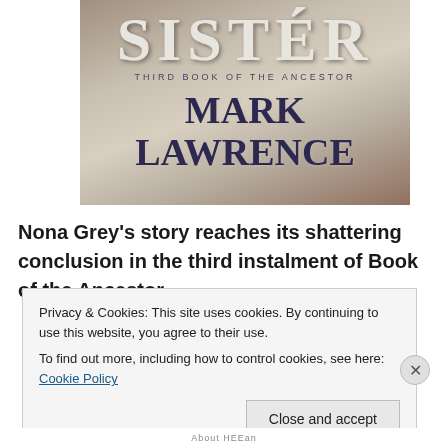[Figure (illustration): Book cover of 'Sister: Third Book of the Ancestor' by Mark Lawrence. Title 'SISTER' in large serif letters at top, subtitle 'THIRD BOOK OF THE ANCESTOR' in small caps, author name 'MARK LAWRENCE' in large dark blue serif letters below, all on a textured grey-beige background.]
Nona Grey's story reaches its shattering conclusion in the third instalment of Book of the Ancestor.
Privacy & Cookies: This site uses cookies. By continuing to use this website, you agree to their use.
To find out more, including how to control cookies, see here: Cookie Policy
Close and accept
About HEEan